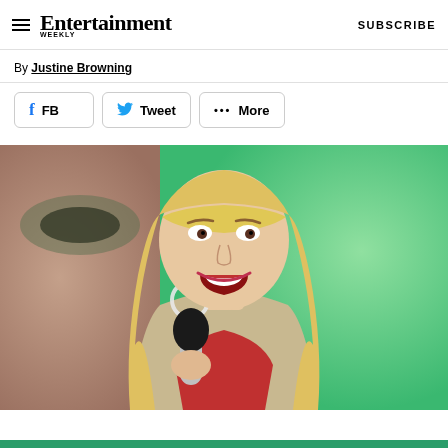Entertainment Weekly — SUBSCRIBE
By Justine Browning
FB  Tweet  ••• More
[Figure (photo): A young blonde woman singing into a microphone, wearing a beige jacket over a red top, with long straight blonde hair with bangs, performing on stage with a green background. A circular hoop earring is visible. This appears to be a Hannah Montana/Miley Cyrus performance photo.]